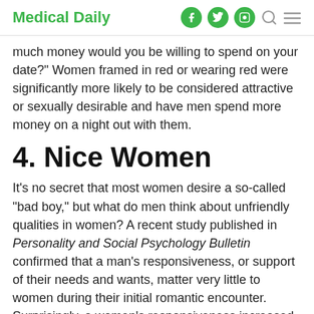Medical Daily
much money would you be willing to spend on your date?" Women framed in red or wearing red were significantly more likely to be considered attractive or sexually desirable and have men spend more money on a night out with them.
4. Nice Women
It’s no secret that most women desire a so-called “bad boy,” but what do men think about unfriendly qualities in women? A recent study published in Personality and Social Psychology Bulletin confirmed that a man’s responsiveness, or support of their needs and wants, matter very little to women during their initial romantic encounter. Surprisingly, a women’s responsiveness increased a man’s perception of attractiveness as well as